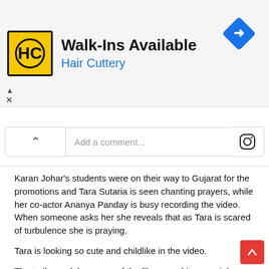[Figure (screenshot): Advertisement banner for Hair Cuttery Walk-Ins Available with yellow HC logo, blue subtitle, and blue diamond arrow icon]
[Figure (screenshot): Instagram comment input box with chevron expand button and Instagram icon]
Karan Johar's students were on their way to Gujarat for the promotions and Tara Sutaria is seen chanting prayers, while her co-actor Ananya Panday is busy recording the video. When someone asks her she reveals that as Tara is scared of turbulence she is praying.
Tara is looking so cute and childlike in the video.
The trailer and the songs of the film are a hit on social media. Today the makers are all set to unveil ‘Hook Up’ song that has Alia Bhatt grooving with Tiger Shroff.
https://www.instagram.com/dharmamovies/